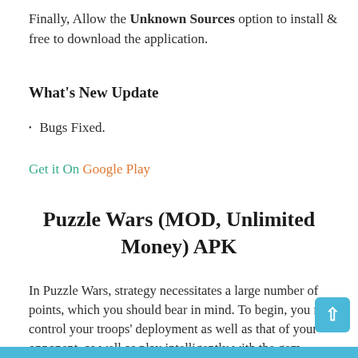Finally, Allow the Unknown Sources option to install & free to download the application.
What's New Update
Bugs Fixed.
Get it On Google Play
Puzzle Wars (MOD, Unlimited Money) APK
In Puzzle Wars, strategy necessitates a large number of points, which you should bear in mind. To begin, you must control your troops' deployment as well as that of your opponent, as well as play intelligently with the gem common board. Your opponent's tiles will slide to your side every time you get rid of tiles on your side, shifting their soldiers.